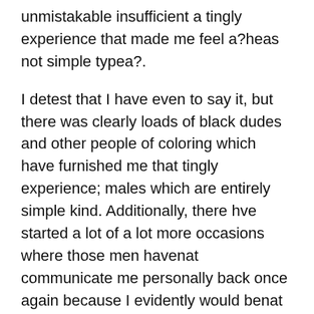unmistakable insufficient a tingly experience that made me feel a?heas not simple typea?.
I detest that I have even to say it, but there was clearly loads of black dudes and other people of coloring which have furnished me that tingly experience; males which are entirely simple kind. Additionally, there hve started a lot of a lot more occasions where those men havenat communicate me personally back once again because I evidently would benat leading them to be become any ways.
While I have to make use of that history as reason that the manas race received nothing at all to do with my own choice in order to engage their